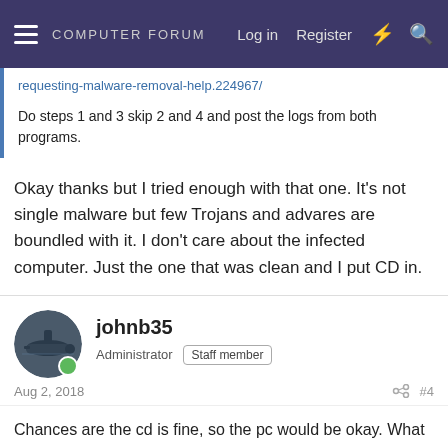COMPUTER FORUM | Log in | Register
requesting-malware-removal-help.224967/

Do steps 1 and 3 skip 2 and 4 and post the logs from both programs.
Okay thanks but I tried enough with that one. It's not single malware but few Trojans and advares are boundled with it. I don't care about the infected computer. Just the one that was clean and I put CD in.
johnb35
Administrator  Staff member
Aug 2, 2018  #4
Chances are the cd is fine, so the pc would be okay. What did you burn to it? But as I said, if you haven't reinstalled windows yet then just run those programs and you'll be cleaned up pretty good.